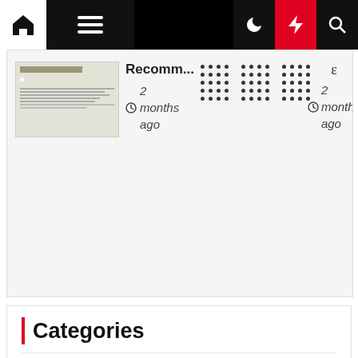[Figure (screenshot): Website navigation bar with home icon, hamburger menu, moon icon, red lightning bolt icon, and search icon on black background]
[Figure (screenshot): Cards strip showing book thumbnail with 'Recomm...' title, clock icon, '2 months ago', dot grid placeholders, epsilon character, clock icon, '2 months ago']
Categories
Business law legal environment
Business law legal environment 7th edition
Business law legal environment online commerce
Color of law legal definition